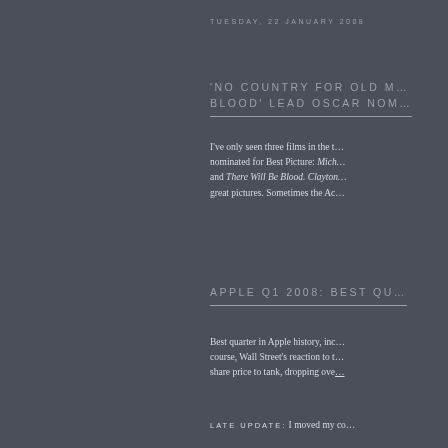TUESDAY, 22 JANUARY 2008
'NO COUNTRY FOR OLD M… BLOOD' LEAD OSCAR NOM…
I've only seen three films in the t… nominated for Best Picture: Mich… and There Will Be Blood. Clayton… great pictures. Sometimes the Ac…
APPLE Q1 2008: BEST QU…
Best quarter in Apple history, inc… course, Wall Street's reaction to t… share price to tank, dropping ove…
LATE UPDATE: I moved my co…